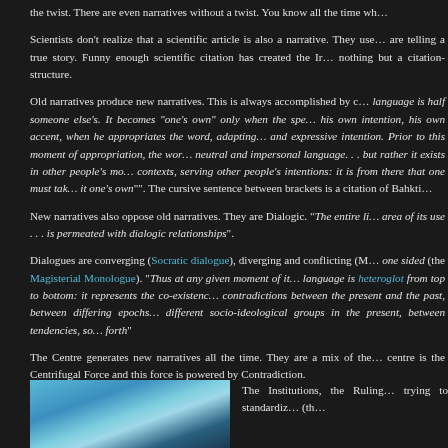the twist. There are even narratives without a twist. You know all the time wh…
Scientists don't realize that a scientific article is also a narrative. They use… are telling a true story. Funny enough scientific citation has created the Ir… nothing but a citation-structure.
Old narratives produce new narratives. This is always accomplished by c… language is half someone else's. It becomes "one's own" only when the spe… his own intention, his own accent, when he appropriates the word, adapting… and expressive intention. Prior to this moment of appropriation, the wor… neutral and impersonal language. . . but rather it exists in other people's mo… contexts, serving other people's intentions: it is from there that one must tak… it one's own"". The cursive sentence between brackets is a citation of Bahkti…
New narratives also oppose old narratives. They are Dialogic. "The entire li… area of its use . . . is permeated with dialogic relationships".
Dialogues are converging (Socratic dialogue), diverging and conflicting (M… one sided (the Magisterial Monologue). "Thus at any given moment of it… language is heteroglot from top to bottom: it represents the co-existenc… contradictions between the present and the past, between differing epochs… different socio-ideological groups in the present, between tendencies, so… forth"
The Centre generates new narratives all the time. They are a mix of the… centre is the Centrifugal Force and this force is powered by Contradiction.
[Figure (photo): A photo showing a map or geographic image with blue and white tones]
The Institutions, the Ruling… trying to standardiz… (th…